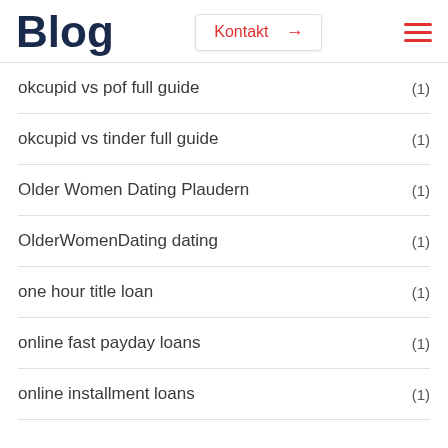Blog
okcupid vs pof full guide (1)
okcupid vs tinder full guide (1)
Older Women Dating Plaudern (1)
OlderWomenDating dating (1)
one hour title loan (1)
online fast payday loans (1)
online installment loans (1)